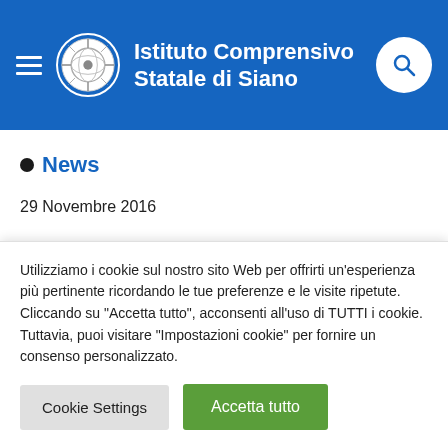Istituto Comprensivo Statale di Siano
News
29 Novembre 2016
Utilizziamo i cookie sul nostro sito Web per offrirti un'esperienza più pertinente ricordando le tue preferenze e le visite ripetute. Cliccando su "Accetta tutto", acconsenti all'uso di TUTTI i cookie. Tuttavia, puoi visitare "Impostazioni cookie" per fornire un consenso personalizzato.
Cookie Settings | Accetta tutto